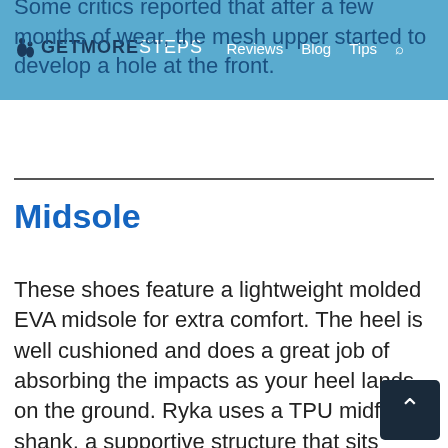GETMORESTEPS | Reviews | Blog | Tips
Some critics reported that after a few months of wear, the mesh upper started to develop a hole at the front.
Midsole
These shoes feature a lightweight molded EVA midsole for extra comfort. The heel is well cushioned and does a great job of absorbing the impacts as your heel lands on the ground. Ryka uses a TPU midfoot shank, a supportive structure that sits under the arch area of the shoes that increase stability.